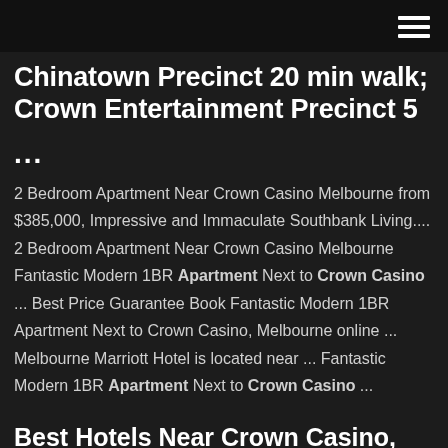Chinatown Precinct 20 min walk; Crown Entertainment Precinct 5 ...
2 Bedroom Apartment Near Crown Casino Melbourne from $385,000, Impressive and Immaculate Southbank Living.... 2 Bedroom Apartment Near Crown Casino Melbourne Fantastic Modern 1BR Apartment Next to Crown Casino ... Best Price Guarantee Book Fantastic Modern 1BR Apartment Next to Crown Casino, Melbourne online ... Melbourne Marriott Hotel is located near ... Fantastic Modern 1BR Apartment Next to Crown Casino ...
Best Hotels Near Crown Casino, Melbourne - TripAdvisor